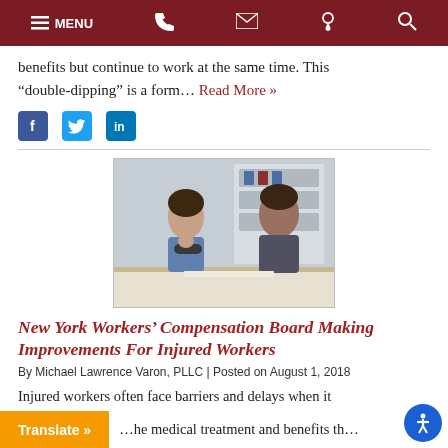MENU (navigation bar with phone, email, location, search icons)
benefits but continue to work at the same time. This “double-dipping” is a form… Read More »
[Figure (other): Social media share icons: Facebook (blue square with f), Twitter (light blue square with bird), LinkedIn (blue square with in)]
[Figure (photo): Two women sitting across a desk in an office setting, one appears to be injured with arm in sling, the other appears to be a professional/consultant]
New York Workers’ Compensation Board Making Improvements For Injured Workers
By Michael Lawrence Varon, PLLC | Posted on August 1, 2018
Injured workers often face barriers and delays when it … the medical treatment and benefits th…